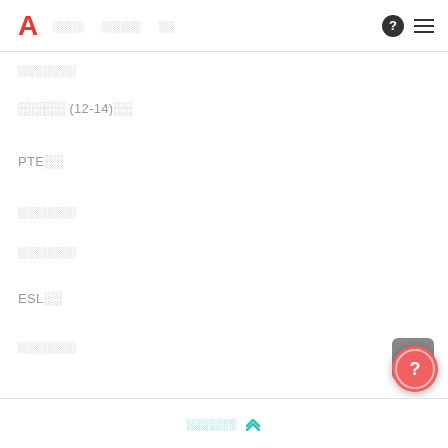A ░░░░ ░░░░░ ░░
░░░░░░░
░░░░░ (12-14)░░
PTE░░
░░░░░░░
░░░░░░░
ESL░░
░░░░░░░
░░░░░░ ▲▲